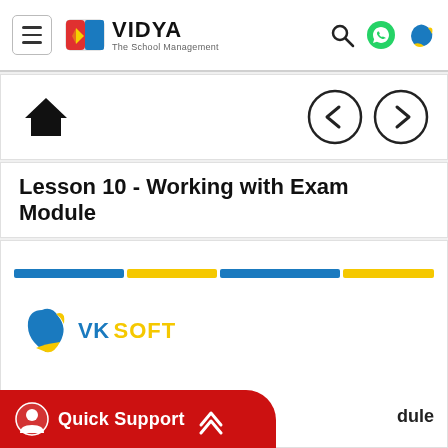VIDYA The School Management
[Figure (logo): VIDYA The School Management logo with navigation icons]
[Figure (infographic): Navigation bar with home icon and previous/next chevron buttons]
Lesson 10 - Working with Exam Module
[Figure (infographic): Blue and yellow segmented progress bar]
[Figure (logo): VK SOFT logo with blue and yellow bird icon]
dule
[Figure (infographic): Quick Support red button with support icon and up chevron]